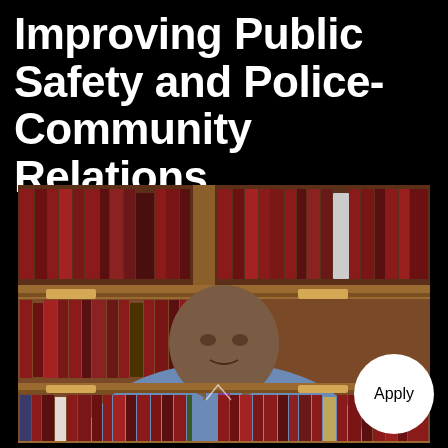Improving Public Safety and Police-Community Relations
[Figure (photo): A person sitting in front of a large bookshelf filled with dark-bound books, appearing to be in a video call or recorded presentation. The person is wearing a blue shirt and purple tie.]
Apply